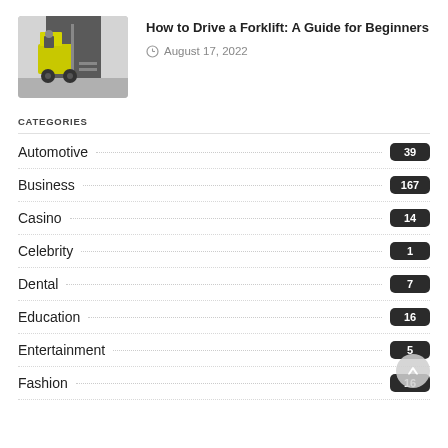[Figure (photo): Photo of a yellow forklift in a warehouse/industrial setting]
How to Drive a Forklift: A Guide for Beginners
August 17, 2022
CATEGORIES
Automotive 39
Business 167
Casino 14
Celebrity 1
Dental 7
Education 16
Entertainment 5
Fashion 16